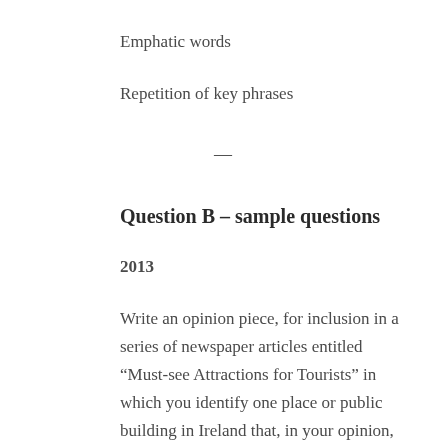Emphatic words
Repetition of key phrases
Question B – sample questions
2013
Write an opinion piece, for inclusion in a series of newspaper articles entitled “Must-see Attractions for Tourists” in which you identify one place or public building in Ireland that, in your opinion, tourists should visit and explain your choice.